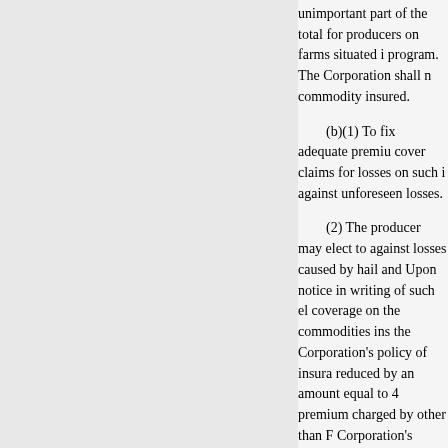unimportant part of the total for producers on farms situated in program. The Corporation shall commodity insured.
(b)(1) To fix adequate premiums cover claims for losses on such against unforeseen losses.
(2) The producer may elect to against losses caused by hail and Upon notice in writing of such coverage on the commodities the Corporation's policy of insura reduced by an amount equal to 4 premium charged by other than Corporation's policy of insurance premium shall not be reduced by That, notwithstanding the prece reduced by an amount that excee provided by the Corporation's po premium that the Corporation de to cover indemnities actually pai Corporation's policy of insurance
(3) For the purpose of encour